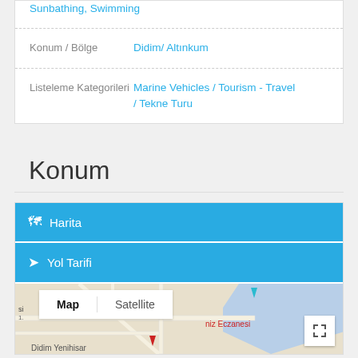|  | Sunbathing, Swimming |
| Konum / Bölge | Didim/ Altınkum |
| Listeleme Kategorileri | Marine Vehicles / Tourism - Travel / Tekne Turu |
Konum
[Figure (map): Map widget showing Harita and Yol Tarifi buttons and a Google Maps preview of Didim/Altınkum area with Map/Satellite toggle, location pins, and fullscreen button. Shows 'niz Eczanesi' and 'Didim Yenihisar' labels.]